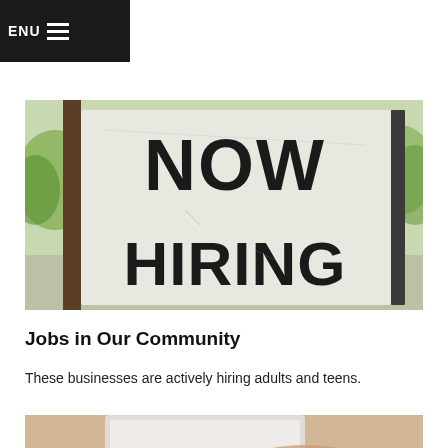MENU
[Figure (photo): A 'NOW HIRING' sign photographed outdoors with blurred green trees in the background. Large bold black text on a white sign.]
Jobs in Our Community
These businesses are actively hiring adults and teens.
[Figure (photo): A close-up photo of hands on a laptop keyboard, partially visible at the bottom of the page.]